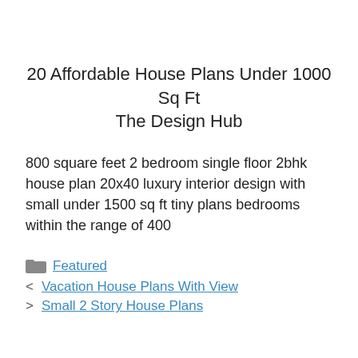20 Affordable House Plans Under 1000 Sq Ft The Design Hub
800 square feet 2 bedroom single floor 2bhk house plan 20x40 luxury interior design with small under 1500 sq ft tiny plans bedrooms within the range of 400
Featured
< Vacation House Plans With View
> Small 2 Story House Plans